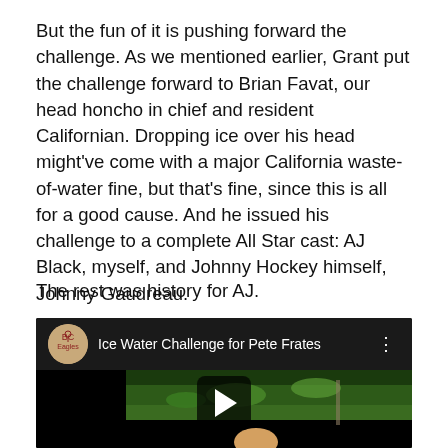But the fun of it is pushing forward the challenge. As we mentioned earlier, Grant put the challenge forward to Brian Favat, our head honcho in chief and resident Californian. Dropping ice over his head might've come with a major California waste-of-water fine, but that's fine, since this is all for a good cause. And he issued his challenge to a complete All Star cast: AJ Black, myself, and Johnny Hockey himself, Johnny Gaudreau.
The rest was history for AJ.
[Figure (screenshot): Embedded YouTube video player showing 'Ice Water Challenge for Pete Frates' with a channel icon on the left, video title, menu dots on right, and a garden scene with play button in the thumbnail.]